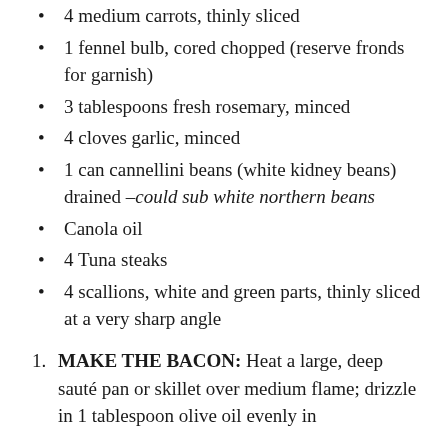4 medium carrots, thinly sliced
1 fennel bulb, cored chopped (reserve fronds for garnish)
3 tablespoons fresh rosemary, minced
4 cloves garlic, minced
1 can cannellini beans (white kidney beans) drained –could sub white northern beans
Canola oil
4 Tuna steaks
4 scallions, white and green parts, thinly sliced at a very sharp angle
MAKE THE BACON: Heat a large, deep sauté pan or skillet over medium flame; drizzle in 1 tablespoon olive oil evenly in